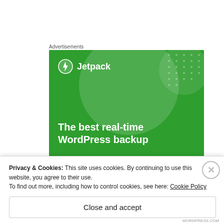Advertisements
[Figure (screenshot): Jetpack advertisement banner with green background showing Jetpack logo and text 'The best real-time WordPress backup']
[Figure (photo): Partially visible avatar or profile image, blurred/cropped at bottom of page]
Privacy & Cookies: This site uses cookies. By continuing to use this website, you agree to their use.
To find out more, including how to control cookies, see here: Cookie Policy
Close and accept